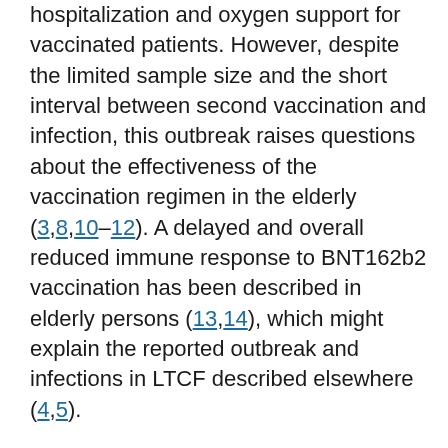hospitalization and oxygen support for vaccinated patients. However, despite the limited sample size and the short interval between second vaccination and infection, this outbreak raises questions about the effectiveness of the vaccination regimen in the elderly (3,8,10–12). A delayed and overall reduced immune response to BNT162b2 vaccination has been described in elderly persons (13,14), which might explain the reported outbreak and infections in LTCF described elsewhere (4,5).
This outbreak highlights that older adults have reduced protection ≤2 weeks after second BNT162b2 vaccination. Therefore, single-dose regimens and extended dosing intervals might be insufficient for fully protecting this population (15). Vaccination of LTCF residents and staff is likely effective in reducing the spread of SARS-CoV-2. However, regular SARS-